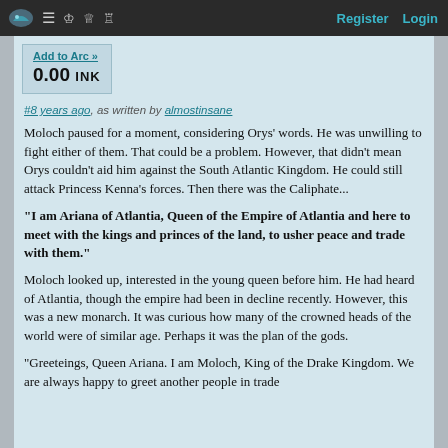Register  Login
Add to Arc »
0.00 INK
#8 years ago, as written by almostinsane
Moloch paused for a moment, considering Orys' words. He was unwilling to fight either of them. That could be a problem. However, that didn't mean Orys couldn't aid him against the South Atlantic Kingdom. He could still attack Princess Kenna's forces. Then there was the Caliphate...
"I am Ariana of Atlantia, Queen of the Empire of Atlantia and here to meet with the kings and princes of the land, to usher peace and trade with them."
Moloch looked up, interested in the young queen before him. He had heard of Atlantia, though the empire had been in decline recently. However, this was a new monarch. It was curious how many of the crowned heads of the world were of similar age. Perhaps it was the plan of the gods.
"Greeteings, Queen Ariana. I am Moloch, King of the Drake Kingdom. We are always happy to greet another people in trade